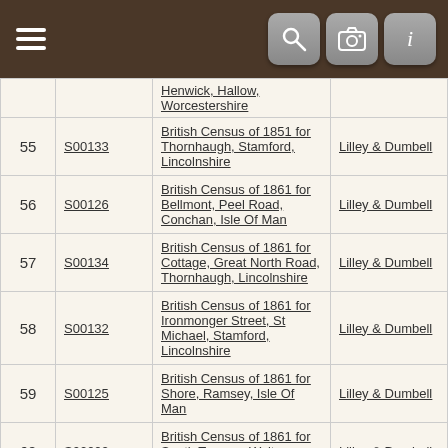[Figure (screenshot): Mobile app top navigation bar with hamburger menu icon on left and search, camera, and info icon buttons on right, brown/dark background]
| # | ID | Description | Source |
| --- | --- | --- | --- |
|  |  | Henwick, Hallow, Worcestershire |  |
| 55 | S00133 | British Census of 1851 for Thornhaugh, Stamford, Lincolnshire | Lilley & Dumbell |
| 56 | S00126 | British Census of 1861 for Bellmont, Peel Road, Conchan, Isle Of Man | Lilley & Dumbell |
| 57 | S00134 | British Census of 1861 for Cottage, Great North Road, Thornhaugh, Lincolnshire | Lilley & Dumbell |
| 58 | S00132 | British Census of 1861 for Ironmonger Street, St Michael, Stamford, Lincolnshire | Lilley & Dumbell |
| 59 | S00125 | British Census of 1861 for Shore, Ramsey, Isle Of Man | Lilley & Dumbell |
| 60 | S00002 | British Census of 1861 for South Terrace, Walton, West Derby | Lilley & Dumbell |
| 61 | S00127 | British Census of 1871 for Belmont, Conchan, Isle Of Man | Lilley & Dumbell |
| 62 | S00129 | British Census of 1871 for Beverley Road | Lilley & Dumbell |